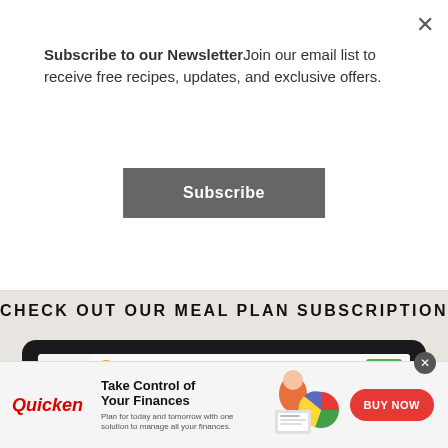Subscribe to our NewsletterJoin our email list to receive free recipes, updates, and exclusive offers.
Subscribe
CHECK OUT OUR MEAL PLAN SUBSCRIPTION
[Figure (screenshot): Laptop showing a meal plan subscription app interface with recipe images in a grid layout]
[Figure (infographic): Quicken advertisement banner: Take Control of Your Finances. Plan for today and tomorrow with one solution to manage all your finances. BUY NOW button.]